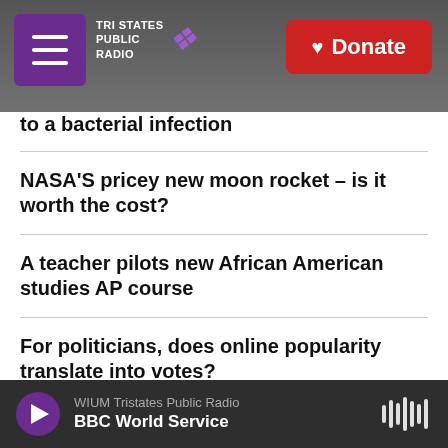[Figure (screenshot): Tri States Public Radio website header with hamburger menu, logo, and red Donate button over a grayscale background photo]
to a bacterial infection
NASA'S pricey new moon rocket – is it worth the cost?
A teacher pilots new African American studies AP course
For politicians, does online popularity translate into votes?
Regina Hall talks new film, 'Honk for Jesus'
WIUM Tristates Public Radio — BBC World Service